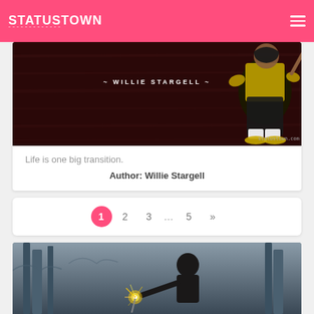STATUSTOWN
[Figure (photo): Dark red background baseball-themed image with Willie Stargell text and player silhouette, watermark statustown.com]
Life is one big transition.
Author: Willie Stargell
1 2 3 … 5 »
[Figure (photo): Dark photo of a person holding a sparkler at night with metal poles in background]